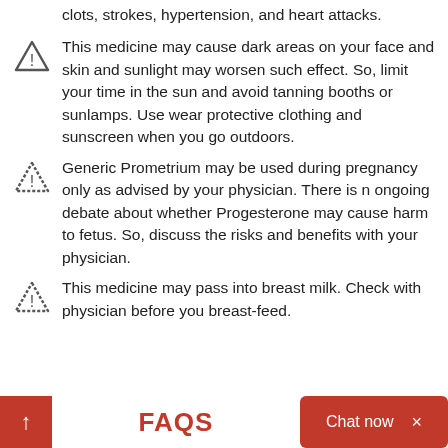clots, strokes, hypertension, and heart attacks.
This medicine may cause dark areas on your face and skin and sunlight may worsen such effect. So, limit your time in the sun and avoid tanning booths or sunlamps. Use wear protective clothing and sunscreen when you go outdoors.
Generic Prometrium may be used during pregnancy only as advised by your physician. There is n ongoing debate about whether Progesterone may cause harm to fetus. So, discuss the risks and benefits with your physician.
This medicine may pass into breast milk. Check with physician before you breast-feed.
FAQS  Chat now